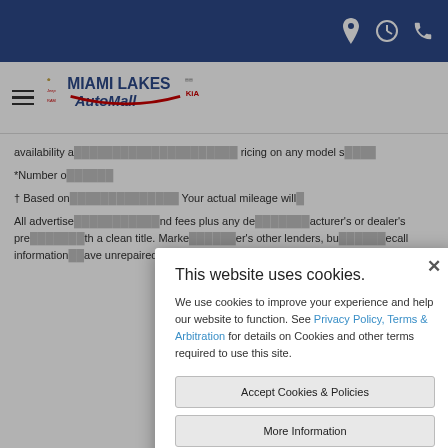Miami Lakes AutoMall website header with navigation icons (location, clock, phone) and hamburger menu with logo
availability a... ricing on any model s...
*Number o...
† Based on... Your actual mileage will...
All advertise... nd fees plus any de... acturer's or dealer's pre... th a clean title. Marke... er's other lenders, bu... ecall information... ave unrepaired... ired or unrepaired...
[Figure (screenshot): Cookie consent modal dialog on Miami Lakes AutoMall website. Title: 'This website uses cookies.' Body text: 'We use cookies to improve your experience and help our website to function. See Privacy Policy, Terms & Arbitration for details on Cookies and other terms required to use this site.' Two buttons: 'Accept Cookies & Policies' and 'More Information'. Footer link: 'Privacy Policy'. Close button (×) in top right corner.]